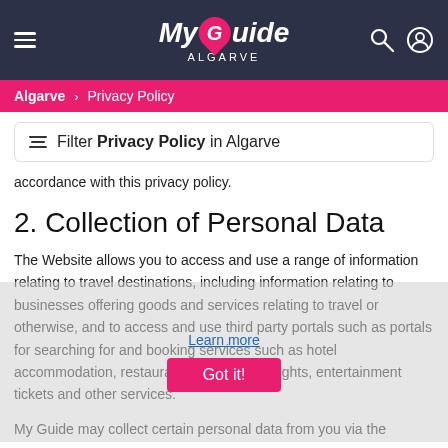My Guide ALGARVE
Algarve > Privacy Policy
Filter Privacy Policy in Algarve
accordance with this privacy policy.
2. Collection of Personal Data
The Website allows you to access and use a range of information relating to travel destinations, including information relating to businesses offering goods and services relating to travel or otherwise, and to access and use third party portals such as portals for searching for and booking services such as hotel accommodation, restaurants, car rentals, flights, entertainment tickets and other services.
My Guide may collect certain personal data from you via the